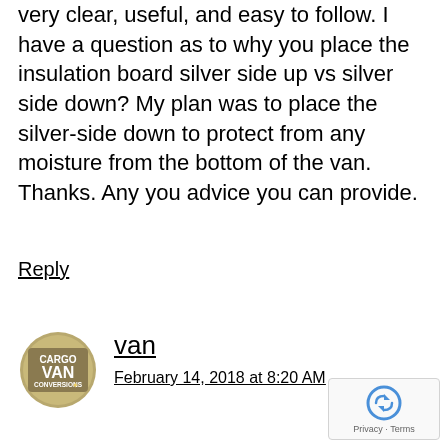very clear, useful, and easy to follow. I have a question as to why you place the insulation board silver side up vs silver side down? My plan was to place the silver-side down to protect from any moisture from the bottom of the van. Thanks. Any you advice you can provide.
Reply
van
February 14, 2018 at 8:20 AM
[Figure (logo): Cargo Van Conversions circular logo with text CARGO VAN CONVERSIONS]